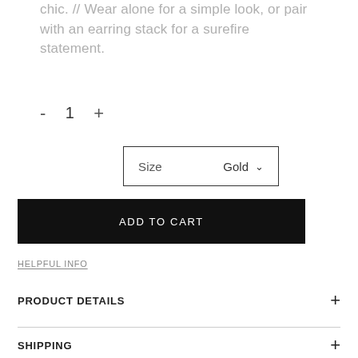chic. // Wear alone for a simple look, or pair with an earring stack for a surefire statement.
- 1 +
Size  Gold  ˅
ADD TO CART
HELPFUL INFO
PRODUCT DETAILS
SHIPPING